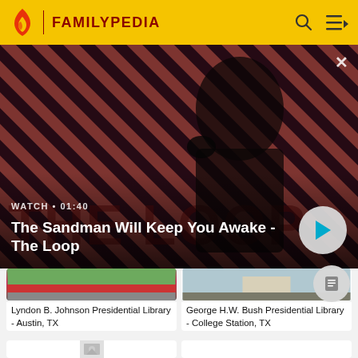FAMILYPEDIA
[Figure (screenshot): Hero promotional image for 'The Sandman Will Keep You Awake - The Loop' video with diagonal striped red/dark background, a dark-clothed figure with a raven, WATCH 01:40 label, and a play button overlay.]
WATCH • 01:40
The Sandman Will Keep You Awake - The Loop
[Figure (photo): Partial thumbnail of Lyndon B. Johnson Presidential Library - Austin, TX]
Lyndon B. Johnson Presidential Library - Austin, TX
[Figure (photo): Partial thumbnail of George H.W. Bush Presidential Library - College Station, TX]
George H.W. Bush Presidential Library - College Station, TX
[Figure (photo): Partially visible card with placeholder image icon]
[Figure (photo): Partially visible white card]